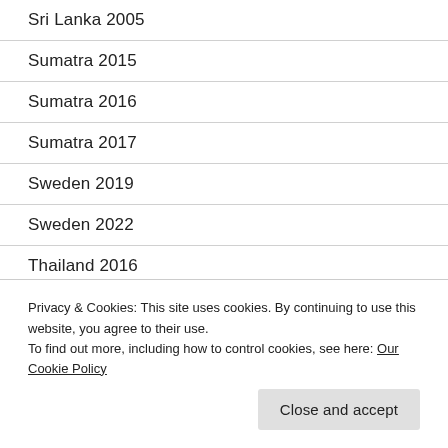Sri Lanka 2005
Sumatra 2015
Sumatra 2016
Sumatra 2017
Sweden 2019
Sweden 2022
Thailand 2016
Thailand 2017
Privacy & Cookies: This site uses cookies. By continuing to use this website, you agree to their use.
To find out more, including how to control cookies, see here: Our Cookie Policy